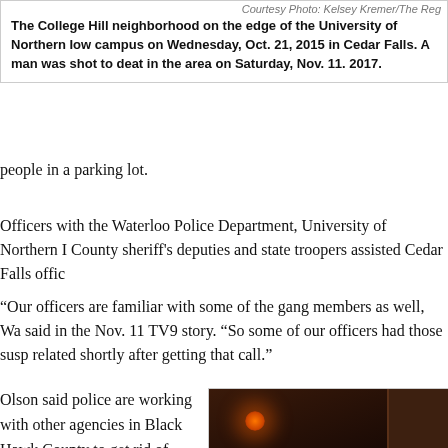Courtesy Photo: Kelsey Kremer/The Reg...
The College Hill neighborhood on the edge of the University of Northern Iow campus on Wednesday, Oct. 21, 2015 in Cedar Falls. A man was shot to deat in the area on Saturday, Nov. 11. 2017.
people in a parking lot.
Officers with the Waterloo Police Department, University of Northern I County sheriff's deputies and state troopers assisted Cedar Falls offic
“Our officers are familiar with some of the gang members as well, Wa said in the Nov. 11 TV9 story. “So some of our officers had those susp related shortly after getting that call.”
Olson said police are working with other agencies in Black Hawk County to get rid of gangs, including the tri-county drug task force comprised of Waterloo and Cedar Falls police officers and sheriff’s deputies from Black Hawk County.
[Figure (photo): Nighttime aerial or elevated view of a parking lot in the College Hill neighborhood near University of Northern Iowa campus, showing a car, a person walking, and buildings lit by reddish/orange light.]